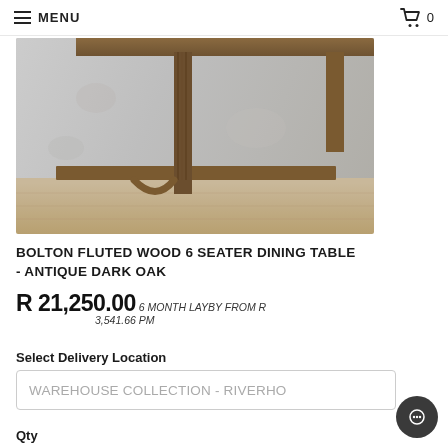MENU  🛒 0
[Figure (photo): Close-up photo of a wooden dining table leg and base structure against a grey concrete wall, showing dark oak finish with fluted wood details, on a light wooden floor.]
BOLTON FLUTED WOOD 6 SEATER DINING TABLE - ANTIQUE DARK OAK
R 21,250.00 6 MONTH LAYBY FROM R 3,541.66 PM
Select Delivery Location
WAREHOUSE COLLECTION - RIVERHO
Qty